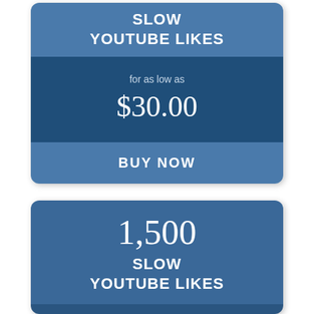SLOW YOUTUBE LIKES
for as low as $30.00
BUY NOW
1,500 SLOW YOUTUBE LIKES